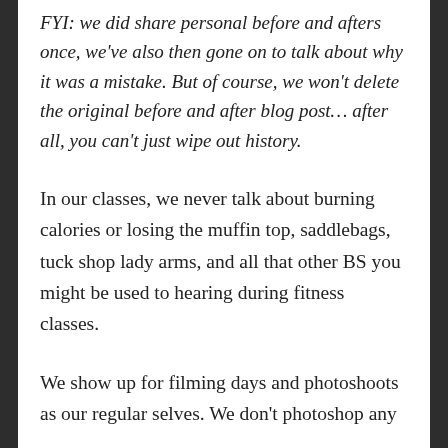FYI: we did share personal before and afters once, we've also then gone on to talk about why it was a mistake. But of course, we won't delete the original before and after blog post… after all, you can't just wipe out history.
In our classes, we never talk about burning calories or losing the muffin top, saddlebags, tuck shop lady arms, and all that other BS you might be used to hearing during fitness classes.
We show up for filming days and photoshoots as our regular selves. We don't photoshop any